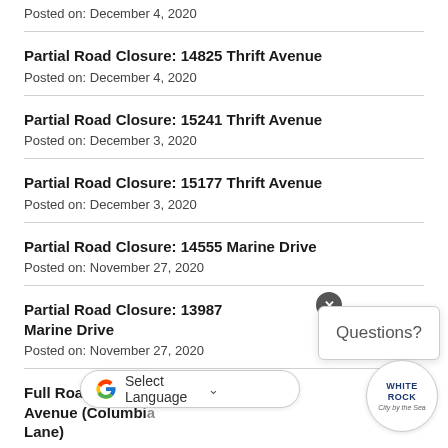Posted on: December 4, 2020
Partial Road Closure: 14825 Thrift Avenue
Posted on: December 4, 2020
Partial Road Closure: 15241 Thrift Avenue
Posted on: December 3, 2020
Partial Road Closure: 15177 Thrift Avenue
Posted on: December 3, 2020
Partial Road Closure: 14555 Marine Drive
Posted on: November 27, 2020
Partial Road Closure: 13987 Marine Drive
Posted on: November 27, 2020
Full Road Closure: 15054 Royal Avenue (Columbia Lane)
Posted on: November 27, 2020